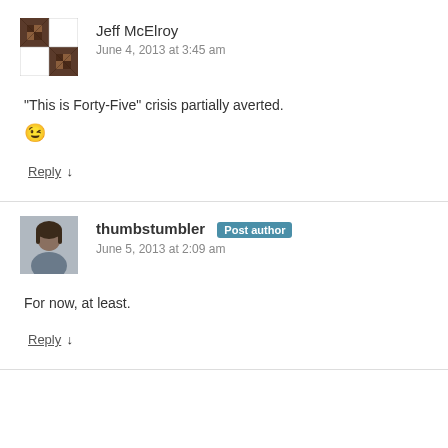Jeff McElroy
June 4, 2013 at 3:45 am
“This is Forty-Five” crisis partially averted. 😉
Reply ↓
thumbstumbler Post author
June 5, 2013 at 2:09 am
For now, at least.
Reply ↓